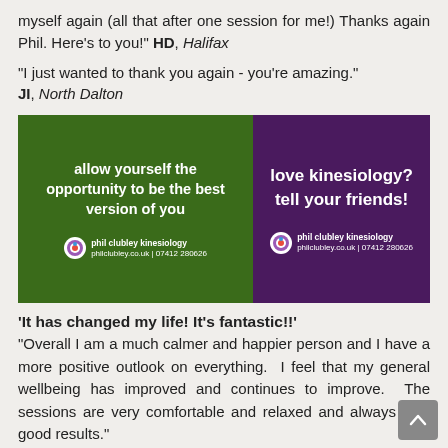myself again (all that after one session for me!) Thanks again Phil. Here's to you!" HD, Halifax
"I just wanted to thank you again - you're amazing." JI, North Dalton
[Figure (infographic): Two promotional banner images side by side. Left: green background with white bold text 'allow yourself the opportunity to be the best version of you' and phil clubley kinesiology logo. Right: purple background with white bold text 'love kinesiology? tell your friends!' and phil clubley kinesiology logo.]
'It has changed my life! It's fantastic!!' "Overall I am a much calmer and happier person and I have a more positive outlook on everything. I feel that my general wellbeing has improved and continues to improve. The sessions are very comfortable and relaxed and always give good results." DC, Hornsea